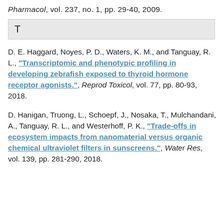Pharmacol, vol. 237, no. 1, pp. 29-40, 2009.
T
D. E. Haggard, Noyes, P. D., Waters, K. M., and Tanguay, R. L., “Transcriptomic and phenotypic profiling in developing zebrafish exposed to thyroid hormone receptor agonists.”, Reprod Toxicol, vol. 77, pp. 80-93, 2018.
D. Hanigan, Truong, L., Schoepf, J., Nosaka, T., Mulchandani, A., Tanguay, R. L., and Westerhoff, P. K., “Trade-offs in ecosystem impacts from nanomaterial versus organic chemical ultraviolet filters in sunscreens.”, Water Res, vol. 139, pp. 281-290, 2018.